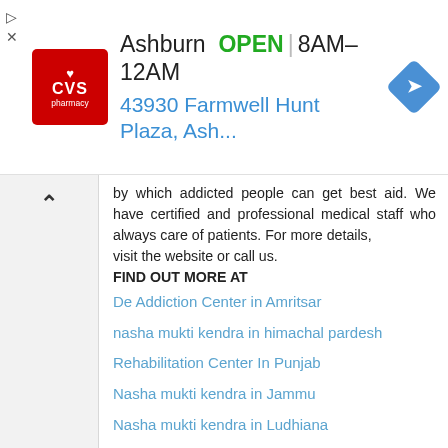[Figure (other): CVS Pharmacy advertisement banner: logo on left, location 'Ashburn' with OPEN status '8AM–12AM', address '43930 Farmwell Hunt Plaza, Ash...', navigation arrow icon on right, close/arrow controls on far left]
by which addicted people can get best aid. We have certified and professional medical staff who always care of patients. For more details,
visit the website or call us.
FIND OUT MORE AT
De Addiction Center in Amritsar
nasha mukti kendra in himachal pardesh
Rehabilitation Center In Punjab
Nasha mukti kendra in Jammu
Nasha mukti kendra in Ludhiana
Nasha mukti kendra in Mandi